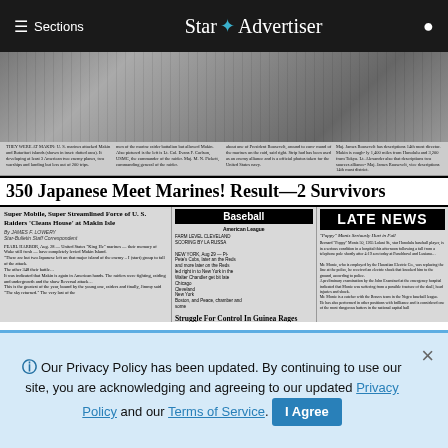≡ Sections | Star Advertiser
[Figure (photo): Scanned historical newspaper front page from August 28, 1942 with headline '350 Japanese Meet Marines! Result--2 Survivors', sub-headlines about Baseball, Struggle For Control In Guinea Rages, and LATE NEWS. Contains black and white photographs at the top.]
Aug. 28, 1942: U.S. forces advance in Pacific nearly 9 months after Pearl Harbor attack
ADVERTISEMENT
Our Privacy Policy has been updated. By continuing to use our site, you are acknowledging and agreeing to our updated Privacy Policy and our Terms of Service. I Agree